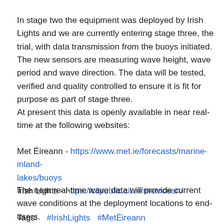In stage two the equipment was deployed by Irish Lights and we are currently entering stage three, the trial, with data transmission from the buoys initiated. The new sensors are measuring wave height, wave period and wave direction. The data will be tested, verified and quality controlled to ensure it is fit for purpose as part of stage three.
At present this data is openly available in near real-time at the following websites:
Met Éireann - https://www.met.ie/forecasts/marine-inland-lakes/buoys
Irish Lights - https://cilpublic.cil.ie/metocean/
The near real-time wave data will provide current wave conditions at the deployment locations to end-users.
Tags: #IrishLights #MetÉireann